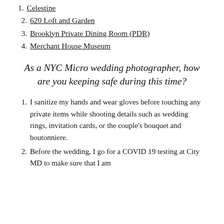1. Celestine
2. 620 Loft and Garden
3. Brooklyn Private Dining Room (PDR)
4. Merchant House Museum
As a NYC Micro wedding photographer, how are you keeping safe during this time?
1. I sanitize my hands and wear gloves before touching any private items while shooting details such as wedding rings, invitation cards, or the couple's bouquet and boutonniere.
2. Before the wedding, I go for a COVID 19 testing at City MD to make sure that I am